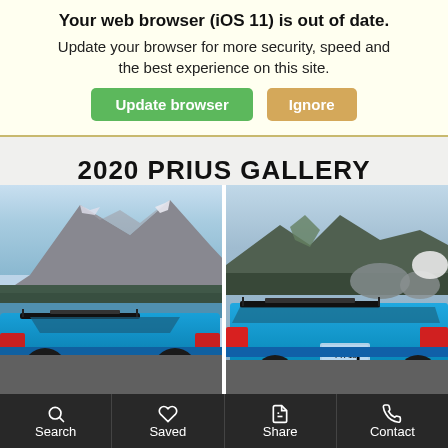Your web browser (iOS 11) is out of date. Update your browser for more security, speed and the best experience on this site.
Update browser | Ignore
2020 PRIUS GALLERY
[Figure (photo): Two Toyota Prius cars photographed outdoors in a mountainous, snowy landscape. Left image shows a blue Prius from behind with ski rack near a lake and mountain. Right image shows a closer rear view of a blue Prius with ski rack against rocky terrain.]
Search   Saved   Share   Contact